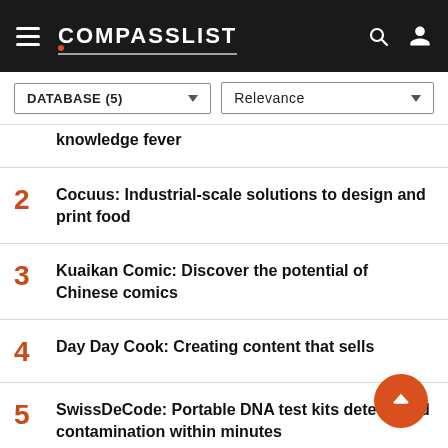COMPASSLIST
knowledge fever
2 Cocuus: Industrial-scale solutions to design and print food
3 Kuaikan Comic: Discover the potential of Chinese comics
4 Day Day Cook: Creating content that sells
5 SwissDeCode: Portable DNA test kits detect food contamination within minutes